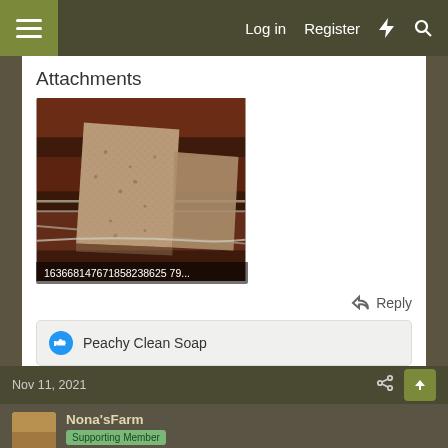Log in  Register
Attachments
[Figure (photo): Photo of two bars of handmade soap on a reddish-brown surface with metal bars/grill in the background. The soap bars have a rough, textured surface and beige/brown color.]
163668147671858238625 79...
Reply
Peachy Clean Soap
Nov 11, 2021
Nona'sFarm
Supporting Member